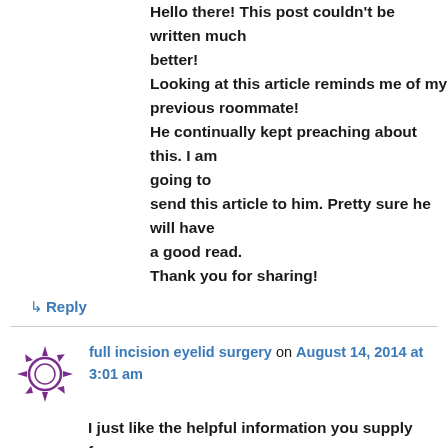Hello there! This post couldn't be written much better! Looking at this article reminds me of my previous roommate! He continually kept preaching about this. I am going to send this article to him. Pretty sure he will have a good read. Thank you for sharing!
↳ Reply
full incision eyelid surgery on August 14, 2014 at 3:01 am
I just like the helpful information you supply for your articles.